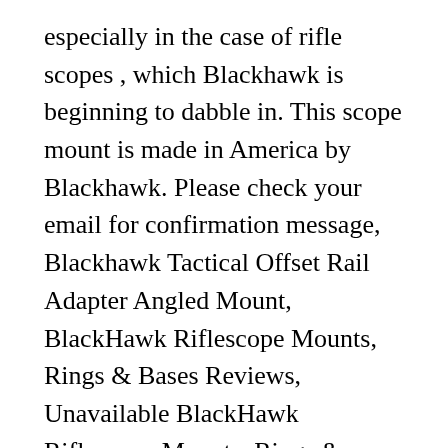especially in the case of rifle scopes , which Blackhawk is beginning to dabble in. This scope mount is made in America by Blackhawk. Please check your email for confirmation message, Blackhawk Tactical Offset Rail Adapter Angled Mount, BlackHawk Riflescope Mounts, Rings & Bases Reviews, Unavailable BlackHawk Riflescope Mounts, Rings & Bases. Shop our vast selection and save! 4.0 out of 5 stars 18. Shop now and get You may be correct about rear sight compatibility. return deadline (January 15, 2021 or 30 days after receipt of your order - whichever is later). CVA Centerfire / Accura V2 Picatinny Rail 0 MOA Silver SKU:46613 From . RUGER scope mount WEIG-A-TINNY ® Remove the rear sight and